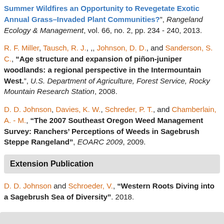Summer Wildfires an Opportunity to Revegetate Exotic Annual Grass–Invaded Plant Communities?", Rangeland Ecology & Management, vol. 66, no. 2, pp. 234 - 240, 2013.
R. F. Miller, Tausch, R. J., ,, Johnson, D. D., and Sanderson, S. C., "Age structure and expansion of piñon-juniper woodlands: a regional perspective in the Intermountain West.", U.S. Department of Agriculture, Forest Service, Rocky Mountain Research Station, 2008.
D. D. Johnson, Davies, K. W., Schreder, P. T., and Chamberlain, A. - M., "The 2007 Southeast Oregon Weed Management Survey: Ranchers' Perceptions of Weeds in Sagebrush Steppe Rangeland", EOARC 2009, 2009.
Extension Publication
D. D. Johnson and Schroeder, V., "Western Roots Diving into a Sagebrush Sea of Diversity". 2018.